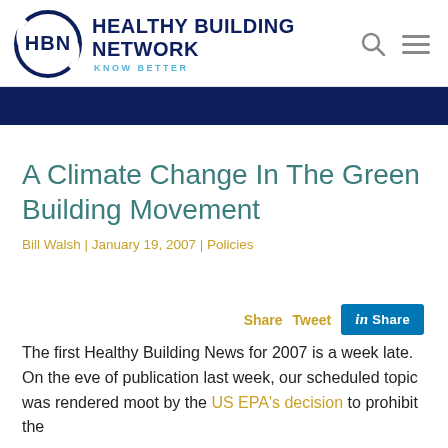[Figure (logo): Healthy Building Network logo with HBN initials in a circle and KNOW BETTER tagline]
A Climate Change In The Green Building Movement
Bill Walsh | January 19, 2007 | Policies
Share  Tweet  Share (LinkedIn)
The first Healthy Building News for 2007 is a week late. On the eve of publication last week, our scheduled topic was rendered moot by the US EPA's decision to prohibit the